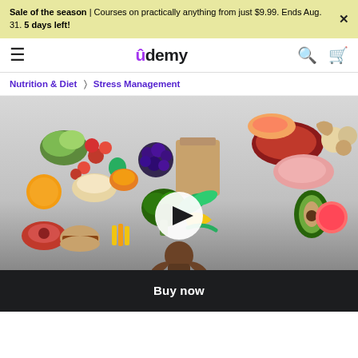Sale of the season | Courses on practically anything from just $9.99. Ends Aug. 31. 5 days left!
Udemy — navigation header with hamburger menu, Udemy logo, search and cart icons
Nutrition & Diet > Stress Management
[Figure (photo): A food nutrition collage showing various healthy and unhealthy foods including vegetables, fruits, meats, blueberries, broccoli, avocado, and baked goods, with a person meditating at the bottom center, and a play button overlay in the center.]
Buy now